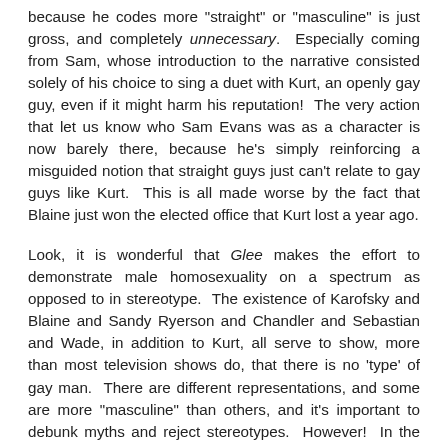because he codes more "straight" or "masculine" is just gross, and completely unnecessary. Especially coming from Sam, whose introduction to the narrative consisted solely of his choice to sing a duet with Kurt, an openly gay guy, even if it might harm his reputation! The very action that let us know who Sam Evans was as a character is now barely there, because he's simply reinforcing a misguided notion that straight guys just can't relate to gay guys like Kurt. This is all made worse by the fact that Blaine just won the elected office that Kurt lost a year ago.
Look, it is wonderful that Glee makes the effort to demonstrate male homosexuality on a spectrum as opposed to in stereotype. The existence of Karofsky and Blaine and Sandy Ryerson and Chandler and Sebastian and Wade, in addition to Kurt, all serve to show, more than most television shows do, that there is no 'type' of gay man. There are different representations, and some are more "masculine" than others, and it's important to debunk myths and reject stereotypes. However! In the case of Kurt and Blaine, it is clear that Kurt codes more "feminine" than Blaine, who likes football and boxing and is included in boys' numbers far